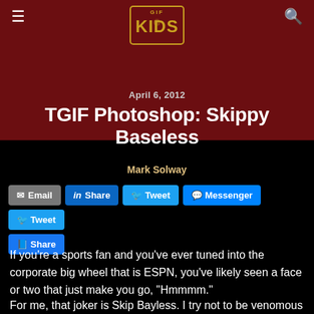GIF KIDS — navigation header with logo
April 6, 2012
TGIF Photoshop: Skippy Baseless
Mark Solway
Email | Share | Tweet | Messenger | Tweet | Share (social buttons)
If you're a sports fan and you've ever tuned into the corporate big wheel that is ESPN, you've likely seen a face or two that just make you go, "Hmmmm."
For me, that joker is Skip Bayless. I try not to be venomous about it, because it isn't Skippy's fault that